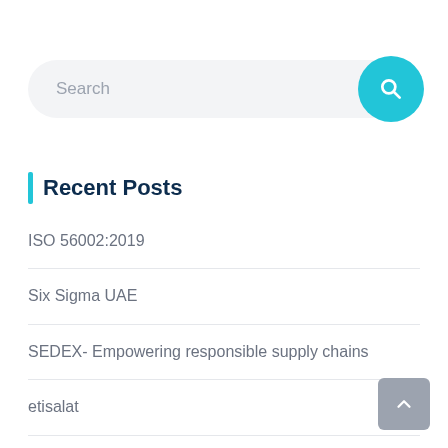Search
Recent Posts
ISO 56002:2019
Six Sigma UAE
SEDEX- Empowering responsible supply chains
etisalat
Transition ISO 45001:2018